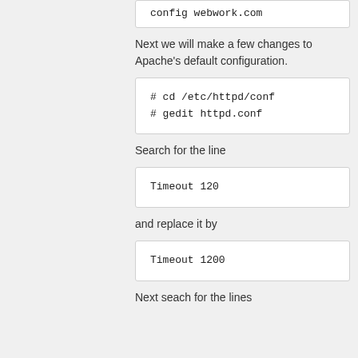config webwork.com
Next we will make a few changes to Apache's default configuration.
# cd /etc/httpd/conf
# gedit httpd.conf
Search for the line
Timeout 120
and replace it by
Timeout 1200
Next seach for the lines